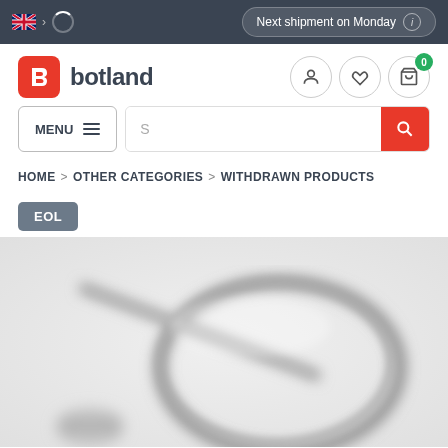Next shipment on Monday
[Figure (logo): Botland logo - red square with white B icon and 'botland' text]
MENU
S
HOME > OTHER CATEGORIES > WITHDRAWN PRODUCTS
EOL
[Figure (photo): Blurred close-up photo of a cable or wire connector component]